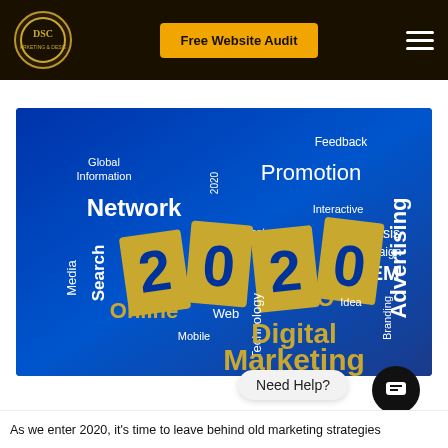DSC — Free Website Audit
[Figure (illustration): Digital marketing word cloud for 2020 on a blue gradient background, featuring words: Feedback, Global Information, 2020, Promotion, Advertising, Network, Interactive, Media, Search, Target, Analysis, Campaign, SEM, Technology, SEO, Idea, Online, Web, Branding, Mobile, Digital Marketing — with large gold '2020' numerals in center]
Need Help?
As we enter 2020, it's time to leave behind old marketing strategies